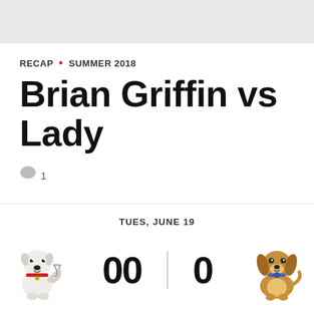RECAP • SUMMER 2018
Brian Griffin vs Lady
💬 1
TUES, JUNE 19
[Figure (illustration): Brian Griffin cartoon dog (white dog from Family Guy holding a martini glass) on the left side of a matchup score display showing 00 | 0 with Lady (cartoon cocker spaniel from Lady and the Tramp) on the right]
00 | 0